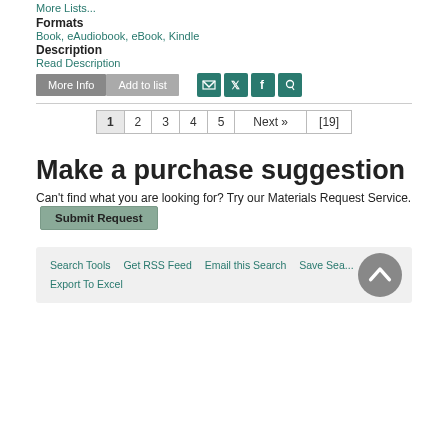More Lists...
Formats
Book, eAudiobook, eBook, Kindle
Description
Read Description
More Info | Add to list | [social icons: email, twitter, facebook, pinterest]
1  2  3  4  5  Next »  [19]
Make a purchase suggestion
Can't find what you are looking for? Try our Materials Request Service.  Submit Request
Search Tools  Get RSS Feed  Email this Search  Save Sea...  Export To Excel